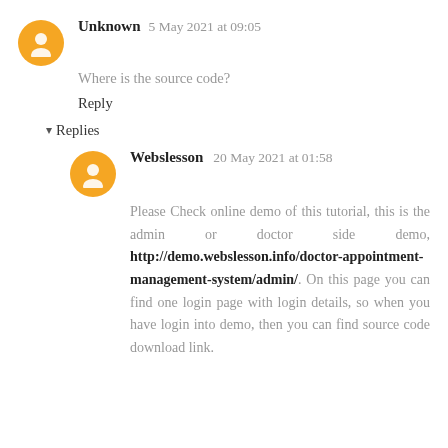Unknown  5 May 2021 at 09:05
Where is the source code?
Reply
▾ Replies
Webslesson  20 May 2021 at 01:58
Please Check online demo of this tutorial, this is the admin or doctor side demo, http://demo.webslesson.info/doctor-appointment-management-system/admin/. On this page you can find one login page with login details, so when you have login into demo, then you can find source code download link.